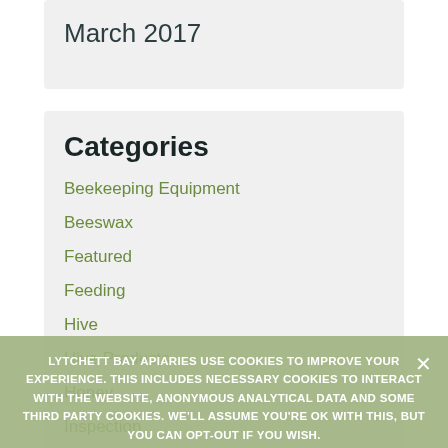March 2017
Categories
Beekeeping Equipment
Beeswax
Featured
Feeding
Hive
Hive Products
Honey
Inspection
LYTCHETT BAY APIARIES USE COOKIES TO IMPROVE YOUR EXPERIENCE. THIS INCLUDES NECESSARY COOKIES TO INTERACT WITH THE WEBSITE, ANONYMOUS ANALYTICAL DATA AND SOME THIRD PARTY COOKIES. WE'LL ASSUME YOU'RE OK WITH THIS, BUT YOU CAN OPT-OUT IF YOU WISH.
ACCEPT
DECLINE
PRIVACY POLICY